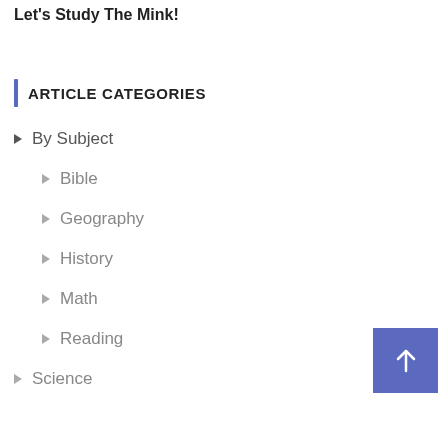Let's Study The Mink!
ARTICLE CATEGORIES
By Subject
Bible
Geography
History
Math
Reading
Science